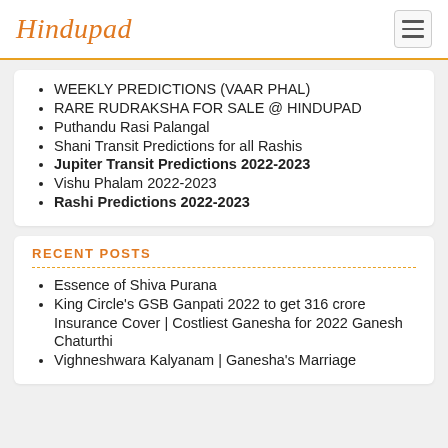Hindupad
WEEKLY PREDICTIONS (VAAR PHAL)
RARE RUDRAKSHA FOR SALE @ HINDUPAD
Puthandu Rasi Palangal
Shani Transit Predictions for all Rashis
Jupiter Transit Predictions 2022-2023
Vishu Phalam 2022-2023
Rashi Predictions 2022-2023
RECENT POSTS
Essence of Shiva Purana
King Circle's GSB Ganpati 2022 to get 316 crore Insurance Cover | Costliest Ganesha for 2022 Ganesh Chaturthi
Vighneshwara Kalyanam | Ganesha's Marriage